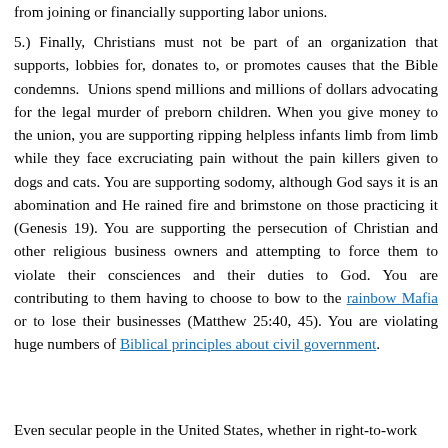from joining or financially supporting labor unions.
5.) Finally, Christians must not be part of an organization that supports, lobbies for, donates to, or promotes causes that the Bible condemns. Unions spend millions and millions of dollars advocating for the legal murder of preborn children. When you give money to the union, you are supporting ripping helpless infants limb from limb while they face excruciating pain without the pain killers given to dogs and cats. You are supporting sodomy, although God says it is an abomination and He rained fire and brimstone on those practicing it (Genesis 19). You are supporting the persecution of Christian and other religious business owners and attempting to force them to violate their consciences and their duties to God. You are contributing to them having to choose to bow to the rainbow Mafia or to lose their businesses (Matthew 25:40, 45). You are violating huge numbers of Biblical principles about civil government.
Even secular people in the United States, whether in right-to-work